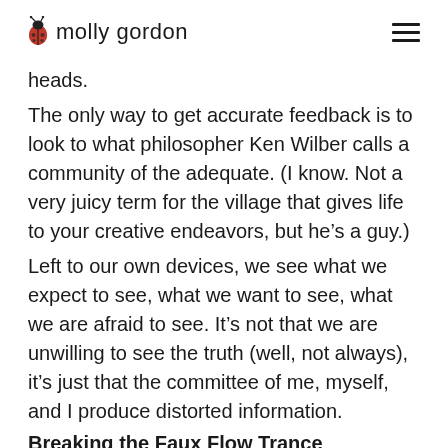molly gordon
heads.
The only way to get accurate feedback is to look to what philosopher Ken Wilber calls a community of the adequate. (I know. Not a very juicy term for the village that gives life to your creative endeavors, but he’s a guy.)
Left to our own devices, we see what we expect to see, what we want to see, what we are afraid to see. It’s not that we are unwilling to see the truth (well, not always), it’s just that the committee of me, myself, and I produce distorted information.
Breaking the Faux Flow Trance